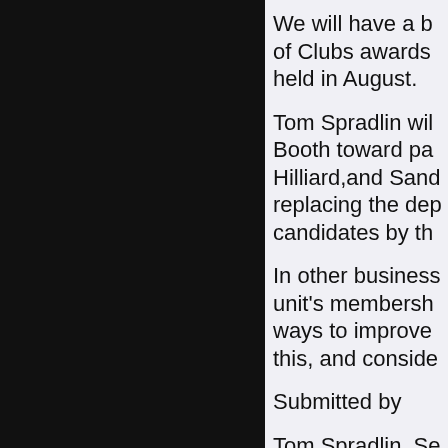We will have a b of Clubs awards held in August.
Tom Spradlin wil Booth toward pa Hilliard,and Sand replacing the dep candidates by th
In other business unit's membersh ways to improve this, and conside
Submitted by
Tom Spradlin, Se